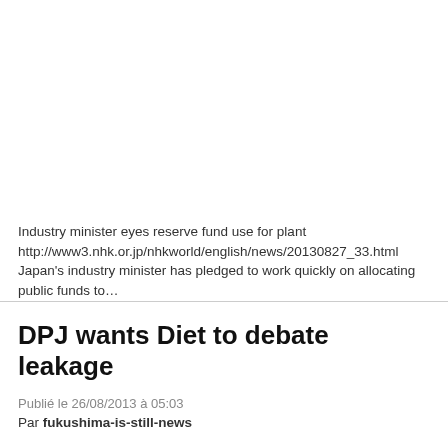Industry minister eyes reserve fund use for plant http://www3.nhk.or.jp/nhkworld/english/news/20130827_33.html Japan's industry minister has pledged to work quickly on allocating public funds to...
DPJ wants Diet to debate leakage
Publié le 26/08/2013 à 05:03
Par fukushima-is-still-news
Diet debates on Fukushima tank leak asked http://www3.nhk.or.jp/nhkworld/english/news/20130826_40.html Japan's main opposition Democratic Party wants the Diet to debate the leakage of…